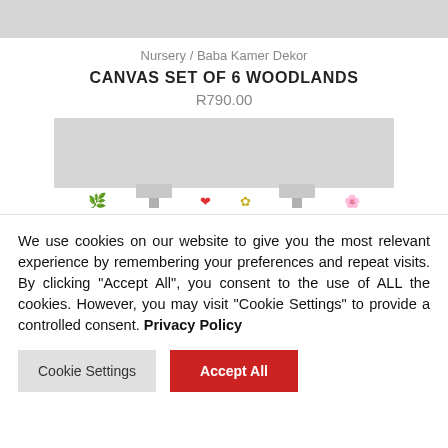[Figure (photo): Top portion of a product image (cropped), light gray background]
Nursery / Baba Kamer Dekor
CANVAS SET OF 6 WOODLANDS
R790.00
[Figure (photo): Product photo showing canvas set of 6 Woodlands art pieces on stands with small woodland animal decorations visible at the bottom]
We use cookies on our website to give you the most relevant experience by remembering your preferences and repeat visits. By clicking “Accept All”, you consent to the use of ALL the cookies. However, you may visit "Cookie Settings" to provide a controlled consent. Privacy Policy
Cookie Settings
Accept All